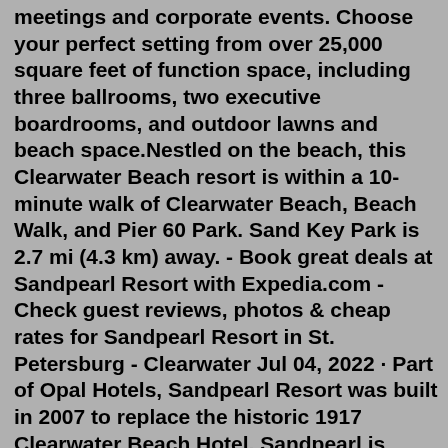meetings and corporate events. Choose your perfect setting from over 25,000 square feet of function space, including three ballrooms, two executive boardrooms, and outdoor lawns and beach space.Nestled on the beach, this Clearwater Beach resort is within a 10-minute walk of Clearwater Beach, Beach Walk, and Pier 60 Park. Sand Key Park is 2.7 mi (4.3 km) away. - Book great deals at Sandpearl Resort with Expedia.com - Check guest reviews, photos & cheap rates for Sandpearl Resort in St. Petersburg - Clearwater Jul 04, 2022 · Part of Opal Hotels, Sandpearl Resort was built in 2007 to replace the historic 1917 Clearwater Beach Hotel. Sandpearl is popular with families, couples, singles and business travelers for its beachfront location and convenience to area attractions and downtown Tampa and St Petersburg. Apache/2.4.52 (Debian) Server at www.sandpearl.com Port 80Apache/2.4.52 (Debian) Server at www.sandpearl.com Port 80Nov 22, 2016 · There's also the posh Sandpearl Spa, whose signature treatments I admittedly indulged in. So while on the